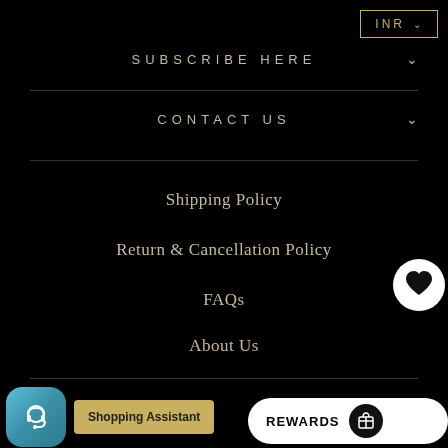INR ∨
SUBSCRIBE HERE
CONTACT US
Shipping Policy
Return & Cancellation Policy
FAQs
About Us
Privacy Policy
Terms and Conditions
Bulk Purchase
Gift Card
[Figure (screenshot): Shopping Assistant chat button and Rewards button at bottom of page]
[Figure (illustration): Heart/wishlist icon circle overlay on right side]